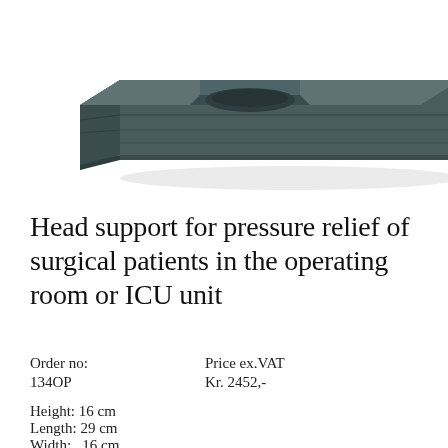[Figure (photo): Product photo of a dark gray/slate colored head support cushion for surgical patients, shown from an angled top-down perspective revealing its form with a cutout/recess area.]
Head support for pressure relief of surgical patients in the operating room or ICU unit
| Order no: | Price ex.VAT |
| --- | --- |
| 134OP | Kr. 2452,- |
Height: 16 cm
Length: 29 cm
Width:   16 cm